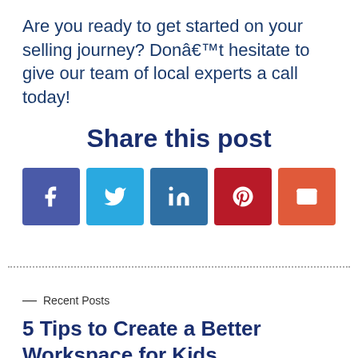Are you ready to get started on your selling journey? Donâ€™t hesitate to give our team of local experts a call today!
Share this post
[Figure (other): Row of five social media share buttons: Facebook (dark blue), Twitter (light blue), LinkedIn (medium blue), Pinterest (dark red), Email (orange-red)]
—  Recent Posts
5 Tips to Create a Better Workspace for Kids